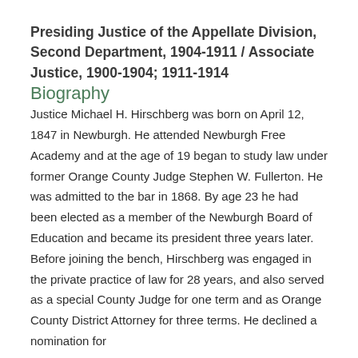Presiding Justice of the Appellate Division, Second Department, 1904-1911 / Associate Justice, 1900-1904; 1911-1914
Biography
Justice Michael H. Hirschberg was born on April 12, 1847 in Newburgh. He attended Newburgh Free Academy and at the age of 19 began to study law under former Orange County Judge Stephen W. Fullerton. He was admitted to the bar in 1868. By age 23 he had been elected as a member of the Newburgh Board of Education and became its president three years later. Before joining the bench, Hirschberg was engaged in the private practice of law for 28 years, and also served as a special County Judge for one term and as Orange County District Attorney for three terms. He declined a nomination for